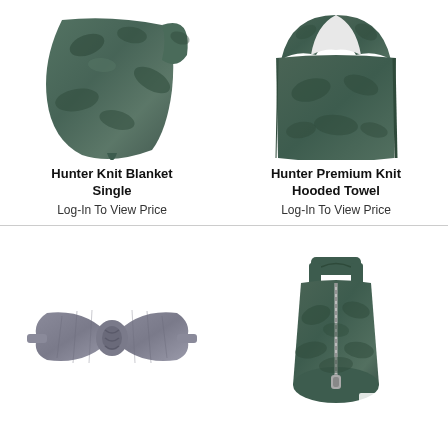[Figure (photo): Hunter Knit Blanket Single - dark green camo knit blanket draped]
Hunter Knit Blanket Single
Log-In To View Price
[Figure (photo): Hunter Premium Knit Hooded Towel - dark green camo hooded towel folded open]
Hunter Premium Knit Hooded Towel
Log-In To View Price
[Figure (photo): Gray bow headband - knit fabric bow tie headband]
[Figure (photo): Hunter camo sleep sack - dark green camo zip sleep bag]